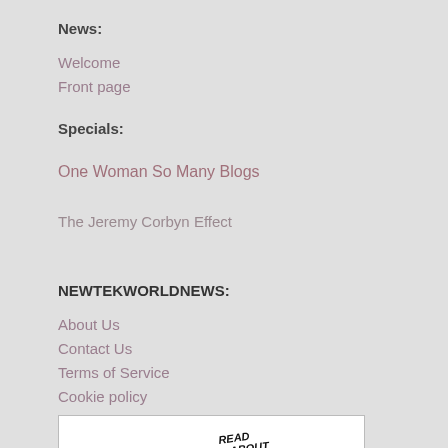News:
Welcome
Front page
Specials:
One Woman So Many Blogs
The Jeremy Corbyn Effect
NEWTEKWORLDNEWS:
About Us
Contact Us
Terms of Service
Cookie policy
[Figure (illustration): Black and white cartoon of a newsboy sitting on large block letters spelling NEWS, holding a newspaper and shouting 'READ ALL ABOUT IT!!']